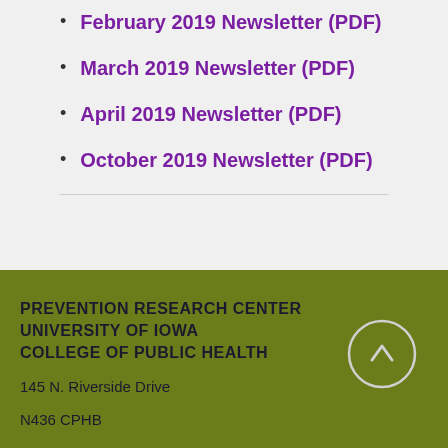February 2019 Newsletter (PDF)
March 2019 Newsletter (PDF)
April 2019 Newsletter (PDF)
October 2019 Newsletter (PDF)
PREVENTION RESEARCH CENTER
UNIVERSITY OF IOWA
COLLEGE OF PUBLIC HEALTH

145 N. Riverside Drive
N436 CPHB